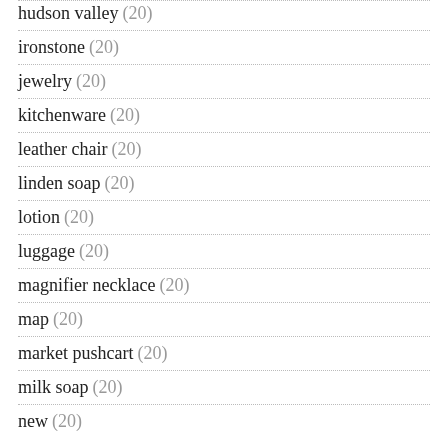hudson valley (20)
ironstone (20)
jewelry (20)
kitchenware (20)
leather chair (20)
linden soap (20)
lotion (20)
luggage (20)
magnifier necklace (20)
map (20)
market pushcart (20)
milk soap (20)
new (20)